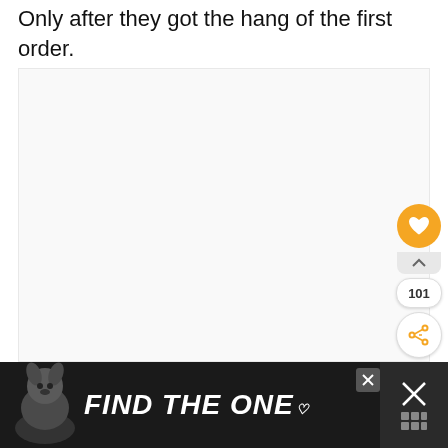Only after they got the hang of the first order.
[Figure (other): Large light gray empty content area / placeholder box]
[Figure (infographic): UI overlay with orange heart button, 101 count badge, and share button on the right side]
[Figure (infographic): Dark advertisement banner at bottom reading FIND THE ONE with a dog image on the left, close button, and right panel with X and grid icon]